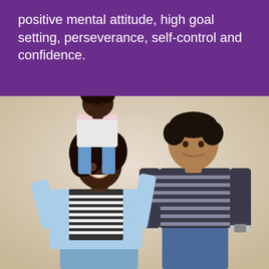positive mental attitude, high goal setting, perseverance, self-control and confidence.
[Figure (photo): A smiling woman with curly hair carrying a young girl on her shoulders, with a young man standing to the right, all posed against a light beige background. The family appears happy and casual.]